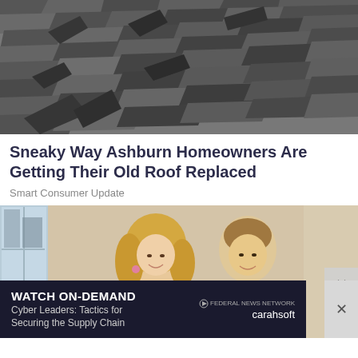[Figure (photo): Black and white close-up photo of damaged, curling asphalt roof shingles]
Sneaky Way Ashburn Homeowners Are Getting Their Old Roof Replaced
Smart Consumer Update
[Figure (photo): Photo of a smiling blonde woman in a blue dress and a man in a black tuxedo with bow tie, standing together at a formal event]
[Figure (screenshot): Advertisement bar: WATCH ON-DEMAND - Cyber Leaders: Tactics for Securing the Supply Chain - Federal News Network / carahsoft]